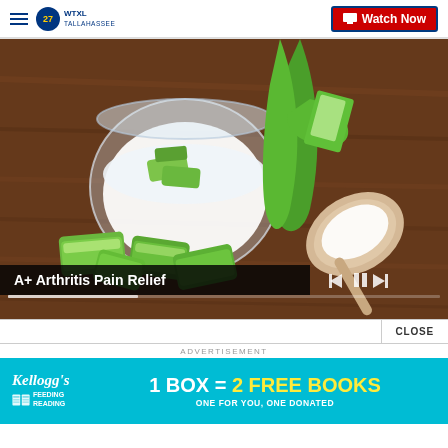≡  ABC27 WTXL TALLAHASSEE   Watch Now
[Figure (photo): Aloe vera leaves cut open with white gel, a glass bowl of cream/gel with aloe pieces, and a wooden spoon holding white granules on a wooden surface]
A+ Arthritis Pain Relief
CLOSE
ADVERTISEMENT
[Figure (infographic): Kellogg's Feeding Reading advertisement banner: '1 BOX = 2 FREE BOOKS, ONE FOR YOU, ONE DONATED' on cyan/turquoise background]